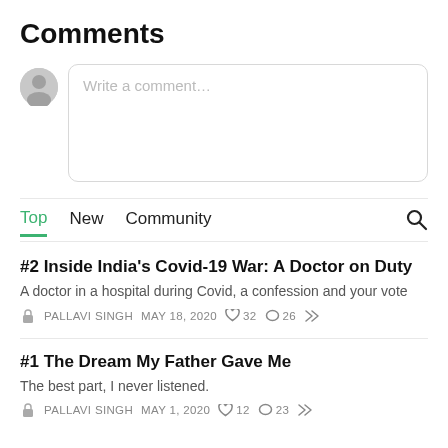Comments
[Figure (screenshot): Comment input box with user avatar and placeholder text 'Write a comment...']
Top  New  Community
#2 Inside India's Covid-19 War: A Doctor on Duty
A doctor in a hospital during Covid, a confession and your vote
PALLAVI SINGH  MAY 18, 2020  ♡ 32  ○ 26  ↗
#1 The Dream My Father Gave Me
The best part, I never listened.
PALLAVI SINGH  MAY 1, 2020  ♡ 12  ○ 23  ↗